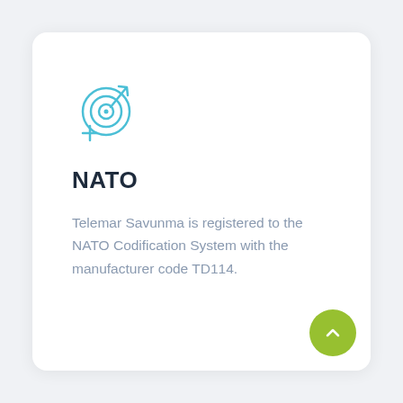[Figure (illustration): Target/crosshair icon in light blue color, representing NATO codification targeting symbol]
NATO
Telemar Savunma is registered to the NATO Codification System with the manufacturer code TD114.